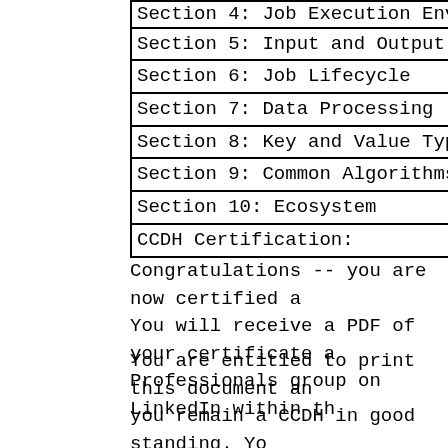| Section 4: Job Execution Environme... |
| Section 5: Input and Output |
| Section 6: Job Lifecycle |
| Section 7: Data Processing |
| Section 8: Key and Value Types |
| Section 9: Common Algorithms and D... |
| Section 10: Ecosystem |
| CCDH Certification: |
Congratulations -- you are now certified a... You will receive a PDF of your certificate a... Professionals group on LinkedIn within th...
You are entitled to print this document an... you remain a CCDH in good standing. Yo... any way, nor may you appropriate any el... documents or printed materials. You may... the document must be approved by Clou...